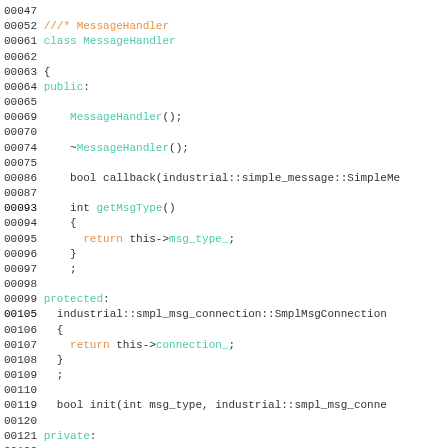Source code listing for MessageHandler class with line numbers 00047-00126